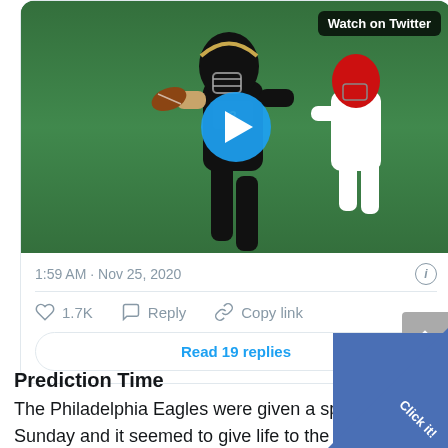[Figure (screenshot): Twitter/X video thumbnail showing an NFL football player in a black Saints uniform running with the ball, with a blue play button overlay and 'Watch on Twitter' label in the top right corner]
1:59 AM · Nov 25, 2020
1.7K   Reply   Copy link
Read 19 replies
Prediction Time
The Philadelphia Eagles were given a spark last Sunday and it seemed to give life to the entire offense. As exciting as that was it won't be enough vs this Saints team. We may see some early success in RPO department and a few scrambling throws c